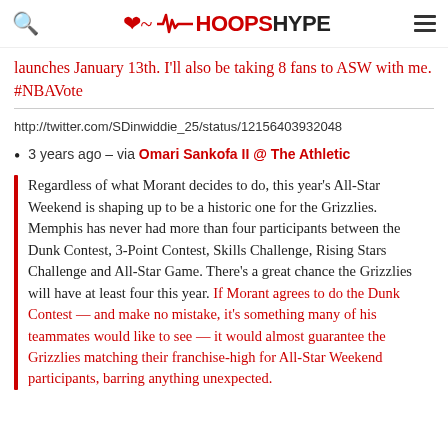HOOPSHYPE
launches January 13th. I'll also be taking 8 fans to ASW with me. #NBAVote
http://twitter.com/SDinwiddie_25/status/121564039320480...
3 years ago – via Omari Sankofa II @ The Athletic
Regardless of what Morant decides to do, this year's All-Star Weekend is shaping up to be a historic one for the Grizzlies. Memphis has never had more than four participants between the Dunk Contest, 3-Point Contest, Skills Challenge, Rising Stars Challenge and All-Star Game. There's a great chance the Grizzlies will have at least four this year. If Morant agrees to do the Dunk Contest — and make no mistake, it's something many of his teammates would like to see — it would almost guarantee the Grizzlies matching their franchise-high for All-Star Weekend participants, barring anything unexpected.